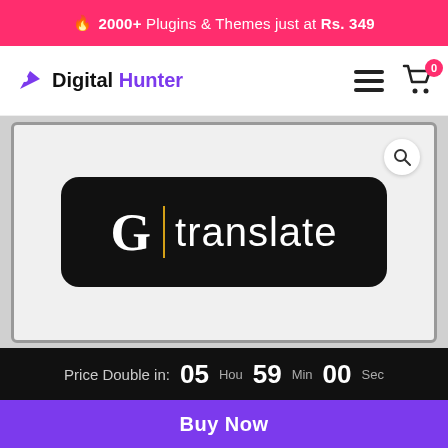🔥 2000+ Plugins & Themes just at Rs. 349
[Figure (logo): Digital Hunter logo with rocket icon, purple and black text]
[Figure (screenshot): GTranslate plugin product image on light gray background with search icon, showing G|translate logo on black rounded rectangle]
Price Double in: 05 Hou 59 Min 00 Sec
Buy Now